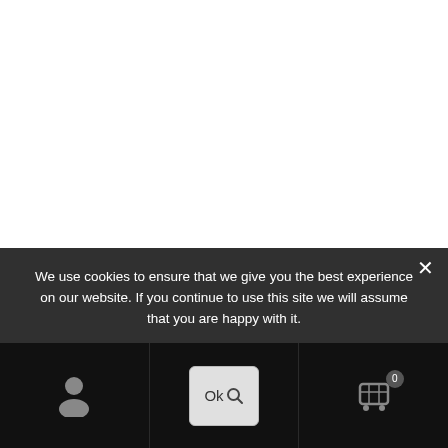We use cookies to ensure that we give you the best experience on our website. If you continue to use this site we will assume that you are happy with it.
[Figure (screenshot): Bottom navigation bar with person/account icon on left, an Ok search button in center, and a shopping cart icon with badge '0' on right, on a black background.]